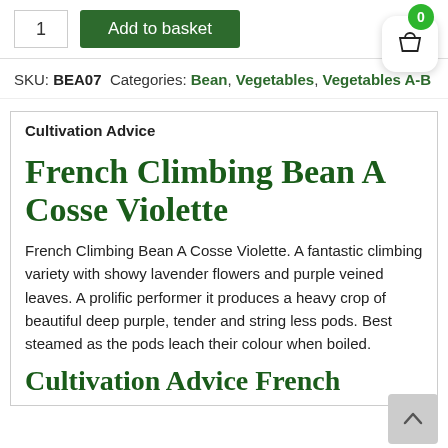1  Add to basket
SKU: BEA07  Categories: Bean, Vegetables, Vegetables A-B
Cultivation Advice
French Climbing Bean A Cosse Violette
French Climbing Bean A Cosse Violette. A fantastic climbing variety with showy lavender flowers and purple veined leaves. A prolific performer it produces a heavy crop of beautiful deep purple, tender and string less pods. Best steamed as the pods leach their colour when boiled.
Cultivation Advice French